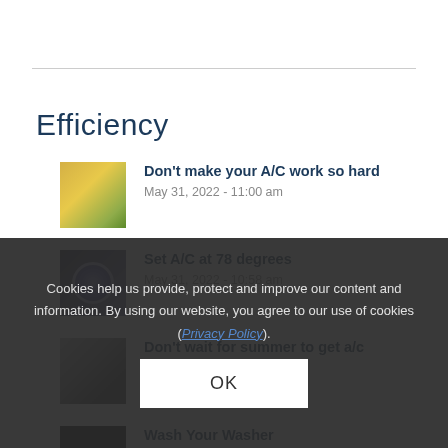Efficiency
Don't make your A/C work so hard
May 31, 2022 - 11:00 am
Set A/C at 78 degrees
May 31, 2022 - 10:58 am
Don't wait for summer to get a/c inspected
May 10, 2022 - 3:31 pm
Wash Your Washer
February 1, 2022...
Cookies help us provide, protect and improve our content and information. By using our website, you agree to our use of cookies (Privacy Policy).